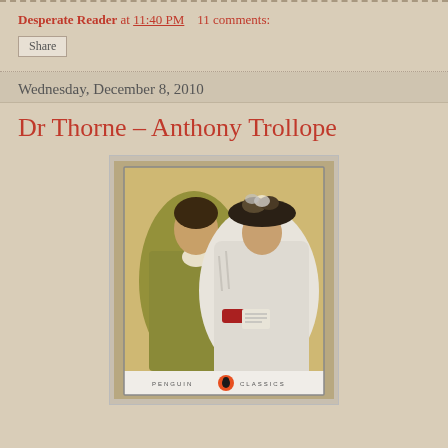Desperate Reader at 11:40 PM   11 comments:
Share
Wednesday, December 8, 2010
Dr Thorne – Anthony Trollope
[Figure (photo): Photo of a Penguin Classics edition of Dr Thorne by Anthony Trollope, showing a painting of a Victorian couple on the cover — a man in a yellow-green jacket with a cravat leaning toward a woman in a white fur-trimmed outfit wearing an elaborate hat decorated with flowers.]